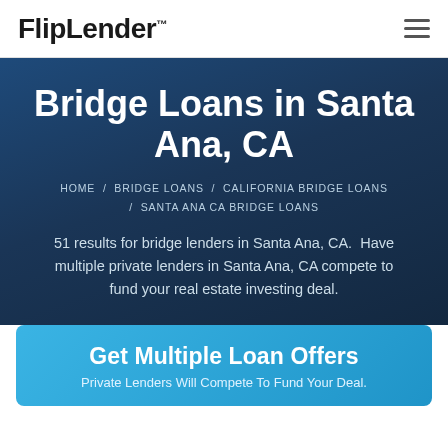FlipLender™
Bridge Loans in Santa Ana, CA
HOME / BRIDGE LOANS / CALIFORNIA BRIDGE LOANS / SANTA ANA CA BRIDGE LOANS
51 results for bridge lenders in Santa Ana, CA. Have multiple private lenders in Santa Ana, CA compete to fund your real estate investing deal.
Get Multiple Loan Offers
Private Lenders Will Compete To Fund Your Deal.